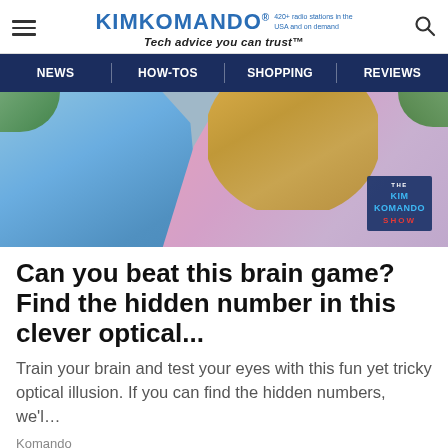KIMKOMANDO® 420+ radio stations in the USA and on demand Tech advice you can trust™
NEWS | HOW-TOS | SHOPPING | REVIEWS
[Figure (photo): Two people from behind, one in blue shirt, one in pink, with blonde hair visible. The Kim Komando Show badge in bottom right corner.]
Can you beat this brain game? Find the hidden number in this clever optical...
Train your brain and test your eyes with this fun yet tricky optical illusion. If you can find the hidden numbers, we'l...
Komando